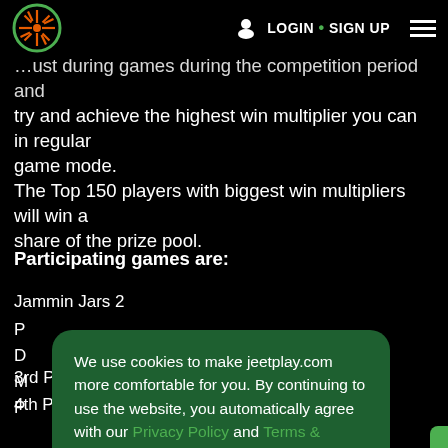LOGIN • SIGN UP
…ust during games during the competition period and try and achieve the highest win multiplier you can in regular game mode.
The Top 150 players with biggest win multipliers will win a share of the prize pool.
Participating games are:
Jammin Jars 2
P[partially hidden]
D[partially hidden]
M[partially hidden]
P[partially hidden]
P[partially hidden]
1[partially hidden]
2[partially hidden]
3rd Place: ₹50,500
4th Place: ₹25,000
We use cookies to make jeetplay.com more comfortable for you. By continuing to use the website, you automatically agree with our Privacy Policy and Terms & Conditions
Ok